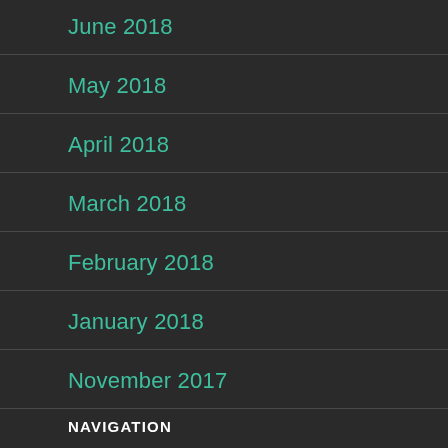June 2018
May 2018
April 2018
March 2018
February 2018
January 2018
November 2017
NAVIGATION